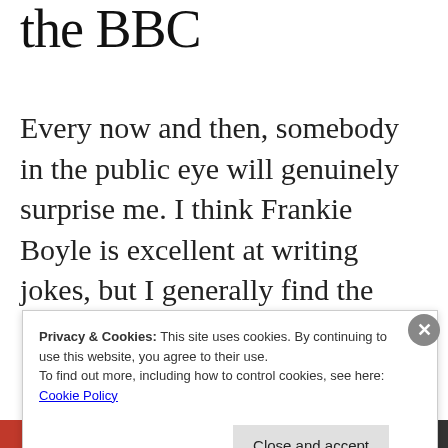the BBC
Every now and then, somebody in the public eye will genuinely surprise me. I think Frankie Boyle is excellent at writing jokes, but I generally find the
Privacy & Cookies: This site uses cookies. By continuing to use this website, you agree to their use.
To find out more, including how to control cookies, see here:
Cookie Policy

Close and accept